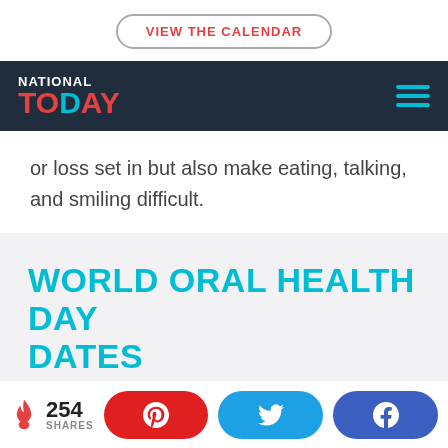VIEW THE CALENDAR
[Figure (logo): National Today logo — NATIONAL above TODAY in red/cyan on dark navy background with hamburger menu icon]
or loss set in but also make eating, talking, and smiling difficult.
WORLD ORAL HEALTH DAY DATES
254 SHARES — Pinterest, Twitter, Facebook share buttons